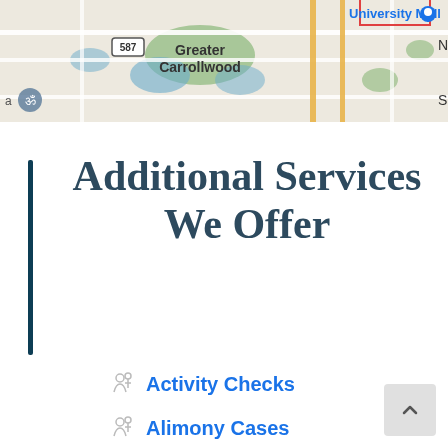[Figure (map): Google Maps screenshot showing Greater Carrollwood area with University Mall labeled, road 587 visible, green/blue areas indicating parks and lakes]
Additional Services We Offer
Activity Checks
Alimony Cases
Corporate Fraud